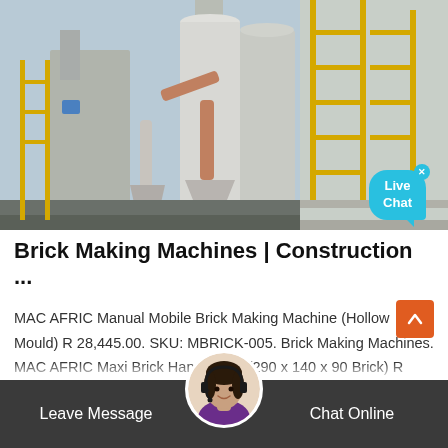[Figure (photo): Industrial factory or plant with large silos, white cylindrical tanks, pipes, yellow scaffolding, and industrial equipment against a blue sky background. A 'Live Chat' bubble appears in the bottom right corner of the image with an X close button.]
Brick Making Machines | Construction ...
MAC AFRIC Manual Mobile Brick Making Machine (Hollow Mould) R 28,445.00. SKU: MBRICK-005. Brick Making Machines. MAC AFRIC Maxi Brick Hand Press (290 x 140 x 90 Brick) R 4,995.00. SKU: MBRICK-002. Brick Making Machines. MAC AFRIC St... Hand Press (220 x 110 x 70 Brick)
[Figure (screenshot): Chat Online bar at the bottom with Leave Message on the left and Chat Online on the right, with a female customer service agent avatar in the center]